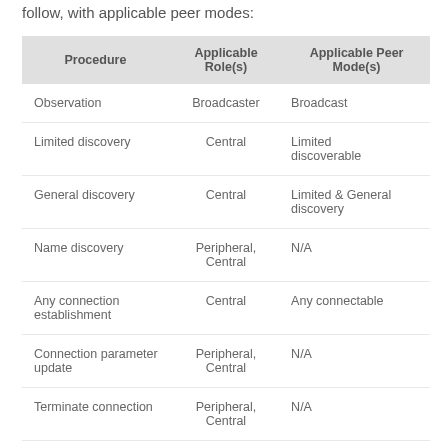follow, with applicable peer modes:
| Procedure | Applicable Role(s) | Applicable Peer Mode(s) |
| --- | --- | --- |
| Observation | Broadcaster | Broadcast |
| Limited discovery | Central | Limited discoverable |
| General discovery | Central | Limited & General discovery |
| Name discovery | Peripheral, Central | N/A |
| Any connection establishment | Central | Any connectable |
| Connection parameter update | Peripheral, Central | N/A |
| Terminate connection | Peripheral, Central | N/A |